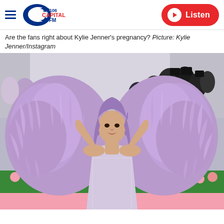95-106 Capital FM | Listen
Are the fans right about Kylie Jenner's pregnancy? Picture: Kylie Jenner/Instagram
[Figure (photo): Kylie Jenner at the Met Gala wearing a crystal-embellished dress with large lavender/purple feathered sleeves, with purple hair, posing on the pink carpet with photographers in the background.]